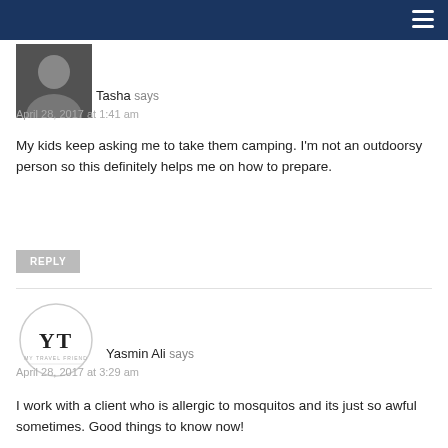Tasha says
April 28, 2017 at 1:41 am
My kids keep asking me to take them camping. I'm not an outdoorsy person so this definitely helps me on how to prepare.
REPLY
Yasmin Ali says
April 28, 2017 at 3:29 am
I work with a client who is allergic to mosquitos and its just so awful sometimes. Good things to know now!